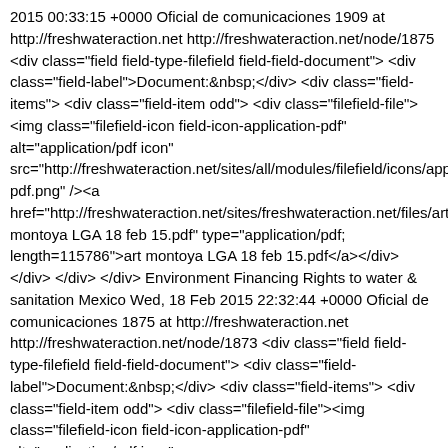2015 00:33:15 +0000 Oficial de comunicaciones 1909 at http://freshwateraction.net http://freshwateraction.net/node/1875 <div class="field field-type-filefield field-field-document"> <div class="field-label">Document:&nbsp;</div> <div class="field-items"> <div class="field-item odd"> <div class="filefield-file"> <img class="filefield-icon field-icon-application-pdf" alt="application/pdf icon" src="http://freshwateraction.net/sites/all/modules/filefield/icons/appl pdf.png" /><a href="http://freshwateraction.net/sites/freshwateraction.net/files/art montoya LGA 18 feb 15.pdf" type="application/pdf; length=115786">art montoya LGA 18 feb 15.pdf</a></div> </div> </div> </div> Environment Financing Rights to water & sanitation Mexico Wed, 18 Feb 2015 22:32:44 +0000 Oficial de comunicaciones 1875 at http://freshwateraction.net http://freshwateraction.net/node/1873 <div class="field field-type-filefield field-field-document"> <div class="field-label">Document:&nbsp;</div> <div class="field-items"> <div class="field-item odd"> <div class="filefield-file"><img class="filefield-icon field-icon-application-pdf" alt="application/pdf icon" src="http://freshwateraction.net/sites/all/modules/filefield/icons/appl pdf.png" /><a href="http://freshwateraction.net/sites/freshwateraction.net/files/Pron febrero 2015 (1).pdf" type="application/pdf;